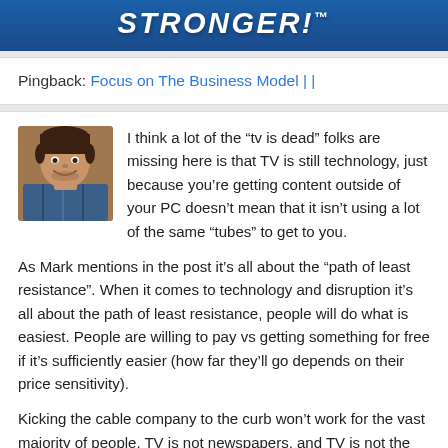STRONGER!
Pingback: Focus on The Business Model | |
[Figure (photo): Profile photo of a man, smiling, wearing a blue and brown patterned shirt, against a warm background.]
I think a lot of the “tv is dead” folks are missing here is that TV is still technology, just because you’re getting content outside of your PC doesn’t mean that it isn’t using a lot of the same “tubes” to get to you.
As Mark mentions in the post it’s all about the “path of least resistance”. When it comes to technology and disruption it’s all about the path of least resistance, people will do what is easiest. People are willing to pay vs getting something for free if it’s sufficiently easier (how far they’ll go depends on their price sensitivity).
Kicking the cable company to the curb won’t work for the vast majority of people. TV is not newspapers, and TV is not the record industry. TV still has a distribution model that is sufficiently easy enough for people to want to use. Newspapers required someone to physically print a bunch of newspapers, and then delive